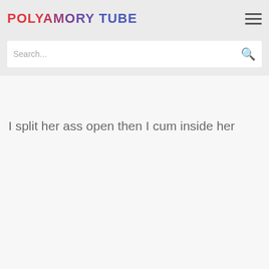POLYAMORY TUBE
Search...
I split her ass open then I cum inside her